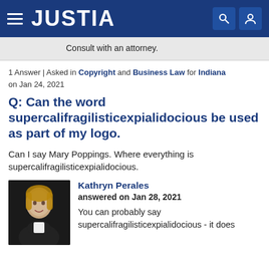JUSTIA
Consult with an attorney.
1 Answer | Asked in Copyright and Business Law for Indiana on Jan 24, 2021
Q: Can the word supercalifragilisticexpialidocious be used as part of my logo.
Can I say Mary Poppings. Where everything is supercalifragilisticexpialidocious.
Kathryn Perales
answered on Jan 28, 2021
You can probably say supercalifragilisticexpialidocious - it does